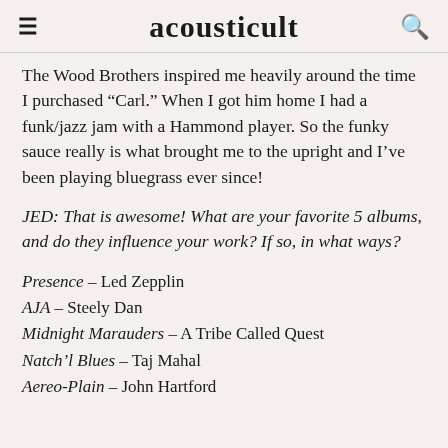acousticult
The Wood Brothers inspired me heavily around the time I purchased “Carl.” When I got him home I had a funk/jazz jam with a Hammond player. So the funky sauce really is what brought me to the upright and I’ve been playing bluegrass ever since!
JED: That is awesome! What are your favorite 5 albums, and do they influence your work? If so, in what ways?
Presence – Led Zepplin
AJA – Steely Dan
Midnight Marauders – A Tribe Called Quest
Natch’l Blues – Taj Mahal
Aereo-Plain – John Hartford